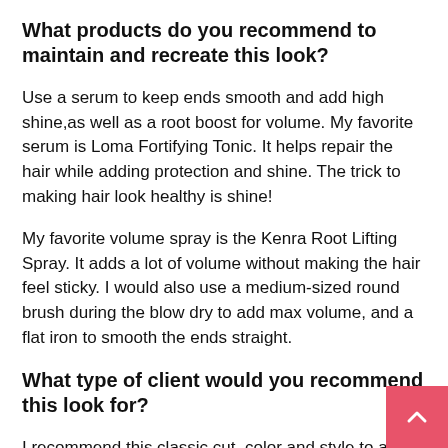What products do you recommend to maintain and recreate this look?
Use a serum to keep ends smooth and add high shine,as well as a root boost for volume. My favorite serum is Loma Fortifying Tonic. It helps repair the hair while adding protection and shine. The trick to making hair look healthy is shine!
My favorite volume spray is the Kenra Root Lifting Spray. It adds a lot of volume without making the hair feel sticky. I would also use a medium-sized round brush during the blow dry to add max volume, and a flat iron to smooth the ends straight.
What type of client would you recommend this look for?
I recommend this classic cut, color and style to any